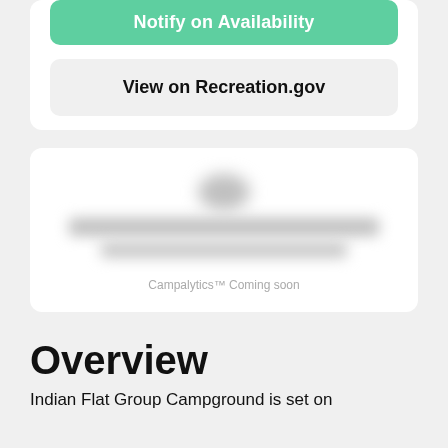Notify on Availability
View on Recreation.gov
[Figure (other): Blurred/redacted Campalytics chart area with coming soon label]
Campalytics™ Coming soon
Overview
Indian Flat Group Campground is set on